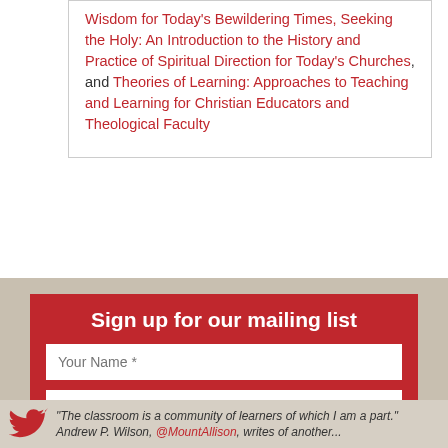Wisdom for Today's Bewildering Times, Seeking the Holy: An Introduction to the History and Practice of Spiritual Direction for Today's Churches, and Theories of Learning: Approaches to Teaching and Learning for Christian Educators and Theological Faculty
Sign up for our mailing list
Your Name *
Your Email *
"The classroom is a community of learners of which I am a part." Andrew P. Wilson, @MountAllison, writes of another...